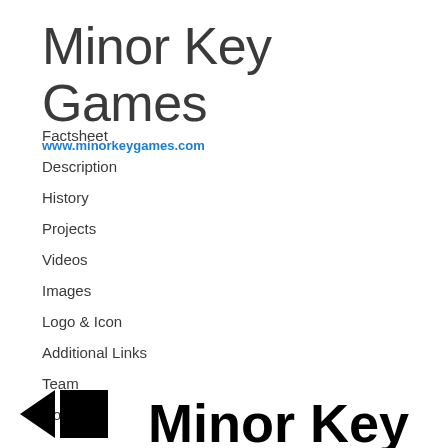Minor Key Games
www.minorkeygames.com
Factsheet
Description
History
Projects
Videos
Images
Logo & Icon
Additional Links
Team
Contact
[Figure (logo): Minor Key Games logo: a black left-pointing triangle/arrow beside a black square, followed by the bold text 'Minor Key' in large black letters]